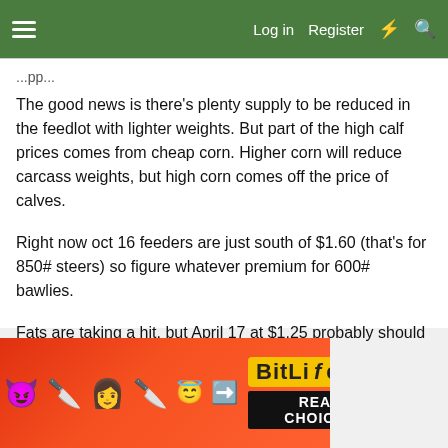Log in  Register
The good news is there's plenty supply to be reduced in the feedlot with lighter weights. But part of the high calf prices comes from cheap corn. Higher corn will reduce carcass weights, but high corn comes off the price of calves.
Right now oct 16 feeders are just south of $1.60 (that's for 850# steers) so figure whatever premium for 600# bawlies.
Fats are taking a hit, but April 17 at $1.25 probably should have been shorted.
[Figure (screenshot): BitLife - Real Choices advertisement banner with emoji characters (devil, woman, angel face) on red background]